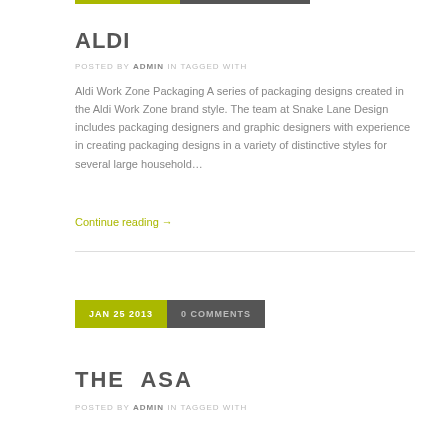ALDI
POSTED BY ADMIN IN TAGGED WITH
Aldi Work Zone Packaging A series of packaging designs created in the Aldi Work Zone brand style. The team at Snake Lane Design includes packaging designers and graphic designers with experience in creating packaging designs in a variety of distinctive styles for several large household…
Continue reading →
[Figure (other): Date and comments bar: JAN 25 2013 | 0 COMMENTS]
THE ASA
POSTED BY ADMIN IN TAGGED WITH